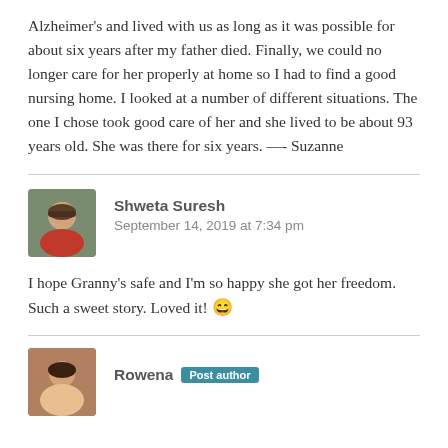Alzheimer's and lived with us as long as it was possible for about six years after my father died. Finally, we could no longer care for her properly at home so I had to find a good nursing home. I looked at a number of different situations. The one I chose took good care of her and she lived to be about 93 years old. She was there for six years. —- Suzanne
Shweta Suresh
September 14, 2019 at 7:34 pm
I hope Granny's safe and I'm so happy she got her freedom. Such a sweet story. Loved it! 😄
Rowena Post author